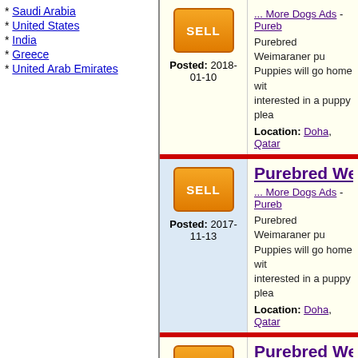Saudi Arabia
United States
India
Greece
United Arab Emirates
| SELL | Posted: 2018-01-10 | Purebred Weimaraner pup... Puppies will go home with... interested in a puppy plea... | Location: Doha, Qatar |
| SELL | Posted: 2017-11-13 | Purebred Weimaraner pup... Puppies will go home with... interested in a puppy plea... | Location: Doha, Qatar |
| SELL | Posted: 2017-10-24 | Purebred Weimaraner pup... Puppies will go home with... interested in a puppy plea... |  |